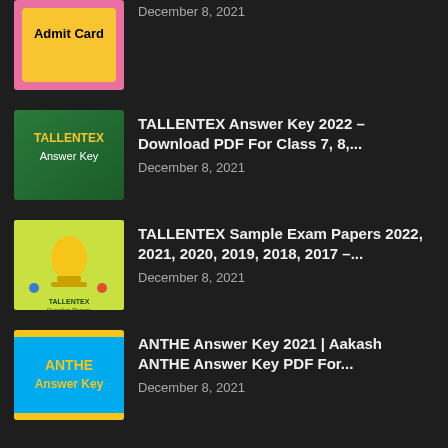December 8, 2021
TALLENTEX Answer Key 2022 – Download PDF For Class 7, 8,...
December 8, 2021
TALLENTEX Sample Exam Papers 2022, 2021, 2020, 2019, 2018, 2017 –...
December 8, 2021
ANTHE Answer Key 2021 | Aakash ANTHE Answer Key PDF For...
December 8, 2021
B ED Entrance Exams
PTET Question Paper 2022, 2021 – Download PTET Question Paper (2020,...